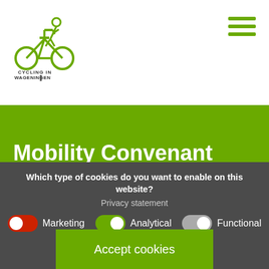[Figure (logo): Cycling in Wageningen logo with cycling stick figure and text]
Mobility Convenant Foodvalley Region
Other news
Which type of cookies do you want to enable on this website?
Privacy statement
Marketing   Analytical   Functional
Accept cookies